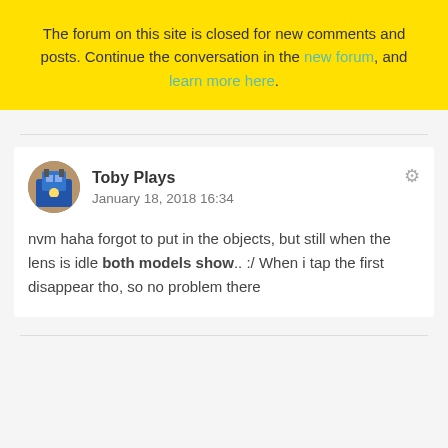The forum on this site is closed for new comments and posts. Continue the conversation in the new forum, and learn more here.
Toby Plays
January 18, 2018 16:34

nvm haha forgot to put in the objects, but still when the lens is idle both models show.. :/ When i tap the first disappear tho, so no problem there